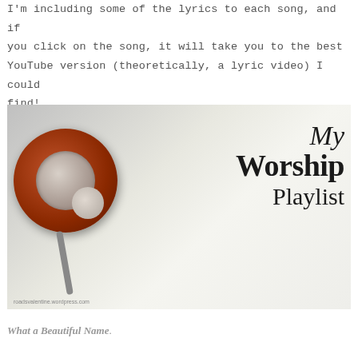I'm including some of the lyrics to each song, and if you click on the song, it will take you to the best YouTube version (theoretically, a lyric video) I could find!
[Figure (photo): Photo of orange headphones on a white surface with text overlay reading 'My Worship Playlist' and watermark 'roadsvalentine.wordpress.com']
What a Beautiful Name.